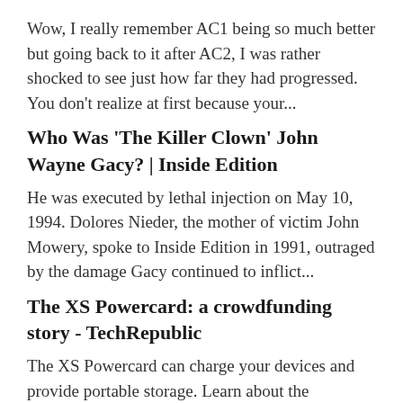Wow, I really remember AC1 being so much better but going back to it after AC2, I was rather shocked to see just how far they had progressed. You don't realize at first because your...
Who Was 'The Killer Clown' John Wayne Gacy? | Inside Edition
He was executed by lethal injection on May 10, 1994. Dolores Nieder, the mother of victim John Mowery, spoke to Inside Edition in 1991, outraged by the damage Gacy continued to inflict...
The XS Powercard: a crowdfunding story - TechRepublic
The XS Powercard can charge your devices and provide portable storage. Learn about the development and crowdfunding process that is bringing it to the public.
Read Negative User Reviews for Dragon Age II on